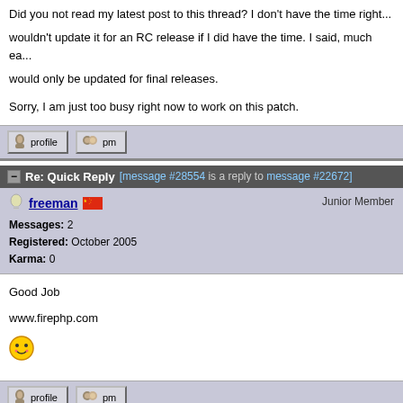Did you not read my latest post to this thread? I don't have the time right now... wouldn't update it for an RC release if I did have the time. I said, much ea... would only be updated for final releases.
Sorry, I am just too busy right now to work on this patch.
Re: Quick Reply [message #28554 is a reply to message #22672]
freeman  Junior Member
Messages: 2
Registered: October 2005
Karma: 0
Good Job

www.firephp.com